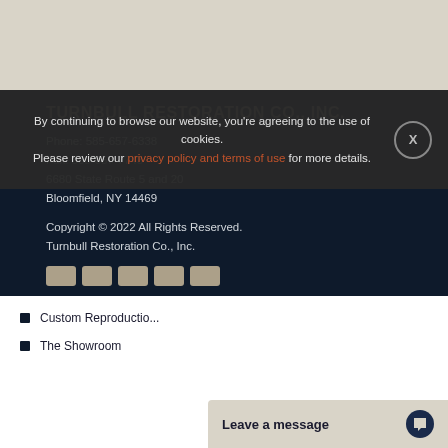TURNBULL RESTORATION CO., INC.
Phone: 585-657-6338
Fax: 585-657-7743
6680 State Route 5 and 20
Bloomfield, NY 14469
Copyright © 2022 All Rights Reserved.
Turnbull Restoration Co., Inc.
By continuing to browse our website, you're agreeing to the use of cookies.
Please review our privacy policy and terms of use for more details.
Custom Reproductio...
The Showroom